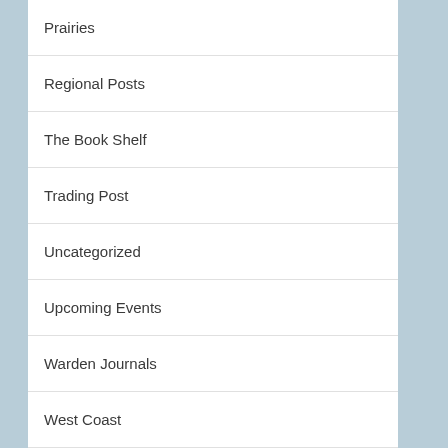Prairies
Regional Posts
The Book Shelf
Trading Post
Uncategorized
Upcoming Events
Warden Journals
West Coast
YA HA TINDA RANCH CENTENNIAL